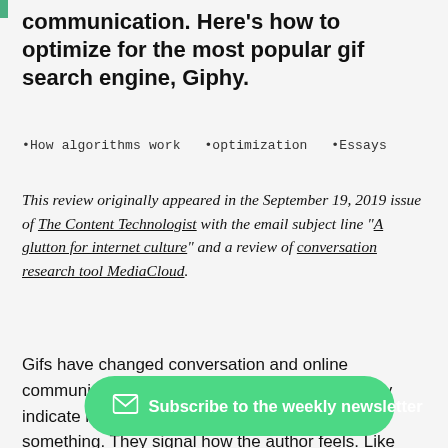communication. Here's how to optimize for the most popular gif search engine, Giphy.
•How algorithms work  •optimization  •Essays
This review originally appeared in the September 19, 2019 issue of The Content Technologist with the email subject line "A glutton for internet culture" and a review of conversation research tool MediaCloud.
Gifs have changed conversation and online communication. They're punctuation marks. They indicate how we should feel after consuming something. They signal how the author feels. Like having an in[...] are empath[...] search engine to rule them all.
Subscribe to the weekly newsletter